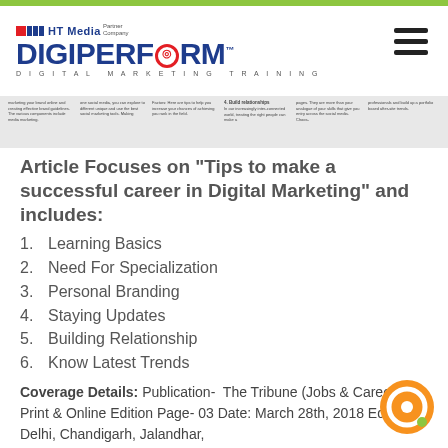[Figure (logo): DigiPerform logo with HT Media Partner Company branding and Digital Marketing Training tagline]
[Figure (screenshot): Thumbnail strip showing article content with multiple columns of small text]
Article Focuses on "Tips to make a successful career in Digital Marketing" and includes:
1. Learning Basics
2. Need For Specialization
3. Personal Branding
4. Staying Updates
5. Building Relationship
6. Know Latest Trends
Coverage Details: Publication- The Tribune (Jobs & Career) – Print & Online Edition Page- 03 Date: March 28th, 2018 Edition- Delhi, Chandigarh, Jalandhar,